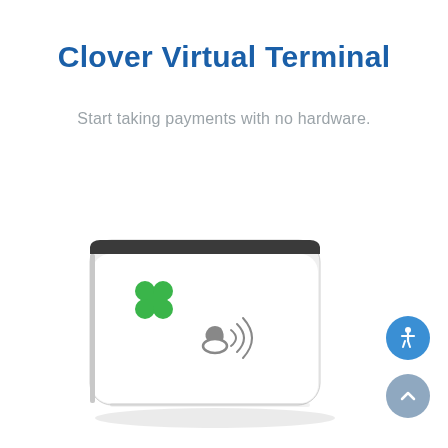Clover Virtual Terminal
Start taking payments with no hardware.
[Figure (photo): A white Clover contactless card reader/virtual terminal device shown at an angle, with a black top edge, green four-leaf clover logo in the upper left, and a contactless payment symbol (NFC tap icon) in the center.]
[Figure (illustration): Blue circular accessibility icon button (wheelchair symbol) in the bottom right corner.]
[Figure (illustration): Gray circular scroll-to-top button (upward chevron arrow) in the bottom right corner below the accessibility button.]